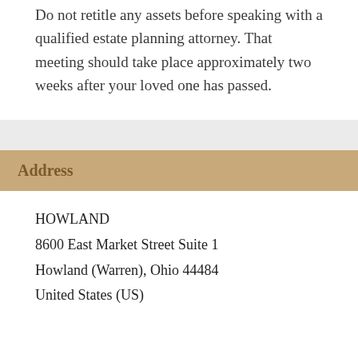Do not retitle any assets before speaking with a qualified estate planning attorney. That meeting should take place approximately two weeks after your loved one has passed.
Address
HOWLAND
8600 East Market Street Suite 1
Howland (Warren), Ohio 44484
United States (US)